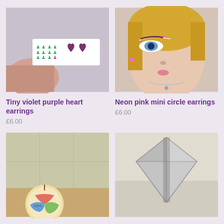[Figure (photo): Hand holding a white card with green person icons and two purple/violet heart stud earrings displayed on it]
Tiny violet purple heart earrings
£6.00
[Figure (photo): Woman wearing neon pink mini circle earrings with dramatic pink and white eye makeup]
Neon pink mini circle earrings
£6.00
[Figure (photo): Colorful round candle on a surface with Nine branding visible]
[Figure (photo): Silver/grey geometric diamond-shaped object on a light surface]